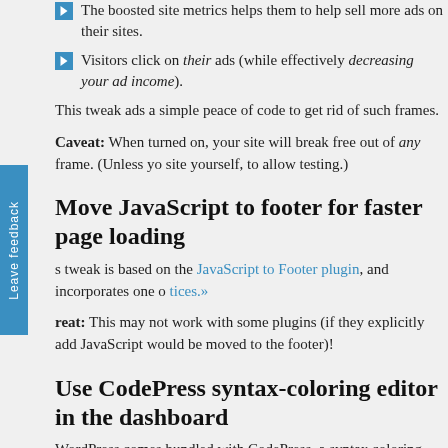The boosted site metrics helps them to help sell more ads on their sites.
Visitors click on their ads (while effectively decreasing your ad income).
This tweak ads a simple peace of code to get rid of such frames.
Caveat: When turned on, your site will break free out of any frame. (Unless you frame the site yourself, to allow testing.)
Move JavaScript to footer for faster page loading
This tweak is based on the JavaScript to Footer plugin, and incorporates one of best practices.»
Caveat: This may not work with some plugins (if they explicitly add JavaScript to the header, it would be moved to the footer)!
Use CodePress syntax-coloring editor in the dashboard
WordPress comes bundled with CodePress, a syntax coloring editor. However
With this tweak, the theme and plugin editor text boxes in the dashboard are made into CodePress editors.
Conclusion and Forecast